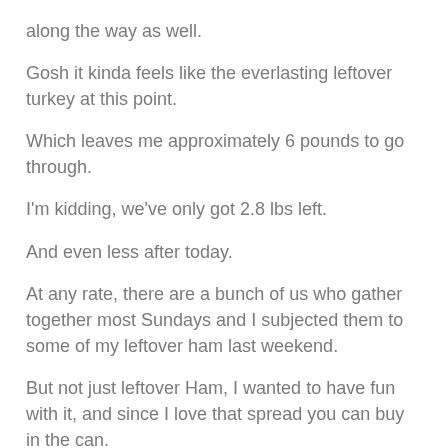along the way as well.
Gosh it kinda feels like the everlasting leftover turkey at this point.
Which leaves me approximately 6 pounds to go through.
I'm kidding, we've only got 2.8 lbs left.
And even less after today.
At any rate, there are a bunch of us who gather together most Sundays and I subjected them to some of my leftover ham last weekend.
But not just leftover Ham, I wanted to have fun with it, and since I love that spread you can buy in the can.
OK, I've been known to buy a can and eat it all.
So I went down to the kitchen and ...